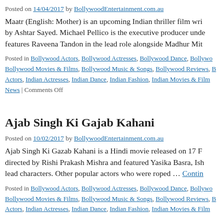Posted on 14/04/2017 by BollywoodEntertainment.com.au
Maatr (English: Mother) is an upcoming Indian thriller film wri by Ashtar Sayed. Michael Pellico is the executive producer und features Raveena Tandon in the lead role alongside Madhur Mit
Posted in Bollywood Actors, Bollywood Actresses, Bollywood Dance, Bollywo Bollywood Movies & Films, Bollywood Music & Songs, Bollywood Reviews, B Actors, Indian Actresses, Indian Dance, Indian Fashion, Indian Movies & Film News | Comments Off
Ajab Singh Ki Gajab Kahani
Posted on 10/02/2017 by BollywoodEntertainment.com.au
Ajab Singh Ki Gazab Kahani is a Hindi movie released on 17 F directed by Rishi Prakash Mishra and featured Yasika Basra, Ish lead characters. Other popular actors who were roped … Contin
Posted in Bollywood Actors, Bollywood Actresses, Bollywood Dance, Bollywo Bollywood Movies & Films, Bollywood Music & Songs, Bollywood Reviews, B Actors, Indian Actresses, Indian Dance, Indian Fashion, Indian Movies & Film